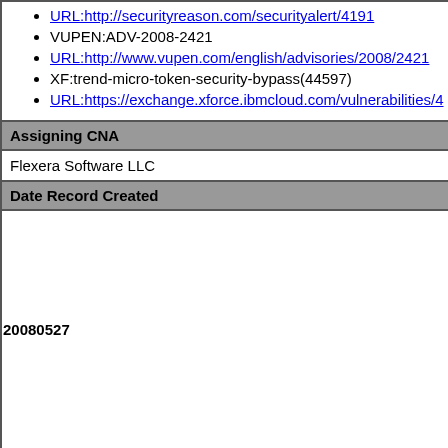URL:http://securityreason.com/securityalert/4191
VUPEN:ADV-2008-2421
URL:http://www.vupen.com/english/advisories/2008/2421
XF:trend-micro-token-security-bypass(44597)
URL:https://exchange.xforce.ibmcloud.com/vulnerabilities/4
Assigning CNA
Flexera Software LLC
Date Record Created
20080527
Disclaimer: The record creation date does not necessarily indicate when this vulnerability was discovered, publicly disclosed, or updated in CVE.
Phase (Legacy)
Assigned (20080527)
Votes (Legacy)
Comments (Legacy)
Proposed (Legacy)
N/A